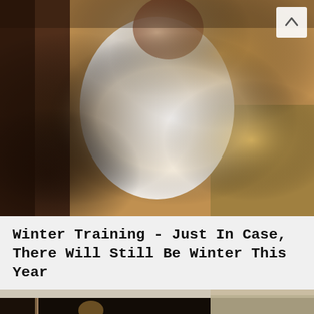[Figure (photo): Outdoor photo showing a person or animal with white/light-colored fluffy material, surrounded by autumn leaves and gravelly ground with warm sunlight]
Winter Training - Just In Case, There Will Still Be Winter This Year
[Figure (photo): Indoor mirror selfie photo showing a person in dark clothing taking a photo, with room interior visible including a lamp and furniture]